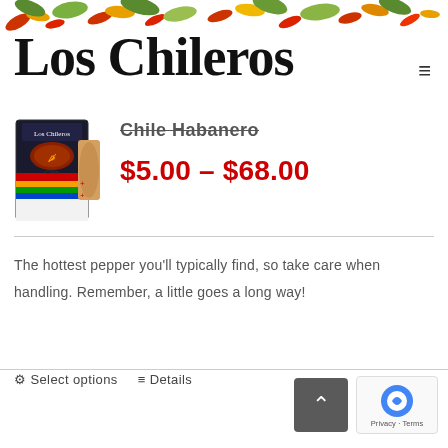[Figure (illustration): Los Chileros brand logo with decorative chili peppers and leaves at the top, and stylized cursive text 'Los Chileros' with a hamburger menu icon]
[Figure (photo): Los Chileros Chile Habanero product packaging box with a bowl of dried peppers]
Chile Habanero (partially visible, struck through)
$5.00 – $68.00
The hottest pepper you'll typically find, so take care when handling. Remember, a little goes a long way!
⚙ Select options  ≡ Details